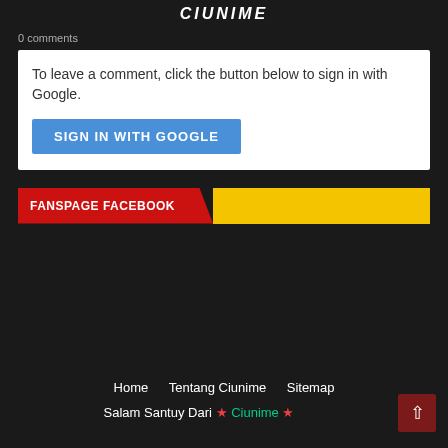CIUNIME
0 comments
To leave a comment, click the button below to sign in with Google.
SIGN IN WITH GOOGLE
FANSPAGE FACEBOOK
Home   Tentang Ciunime   Sitemap
Salam Santuy Dari ★ Ciunime ★